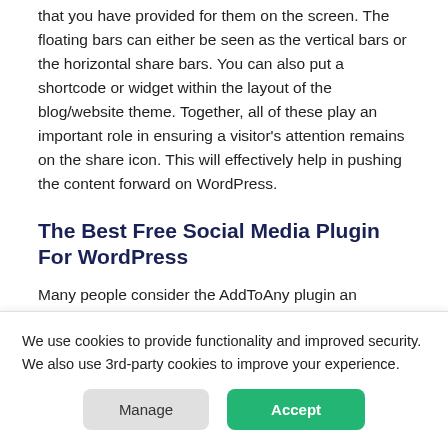that you have provided for them on the screen. The floating bars can either be seen as the vertical bars or the horizontal share bars. You can also put a shortcode or widget within the layout of the blog/website theme. Together, all of these play an important role in ensuring a visitor's attention remains on the share icon. This will effectively help in pushing the content forward on WordPress.
The Best Free Social Media Plugin For WordPress
Many people consider the AddToAny plugin an
We use cookies to provide functionality and improved security. We also use 3rd-party cookies to improve your experience.